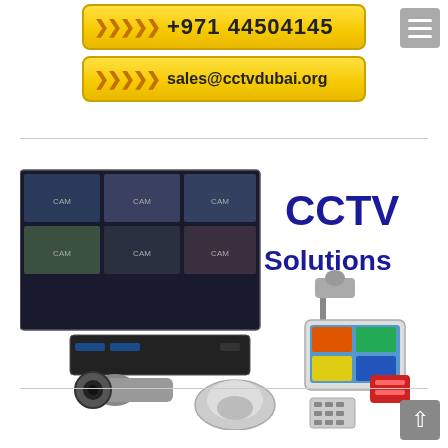[Figure (other): Yellow button with arrow symbols and phone number +971 44504145]
[Figure (other): Yellow button with arrow symbols and email sales@cctvdubai.org]
[Figure (illustration): CCTV Solutions promotional image showing security cameras, DVR, monitor wall with multiple camera feeds, and text 'CCTV Solutions' in bold blue]
[Figure (other): Grey back-to-top arrow button in bottom right corner]